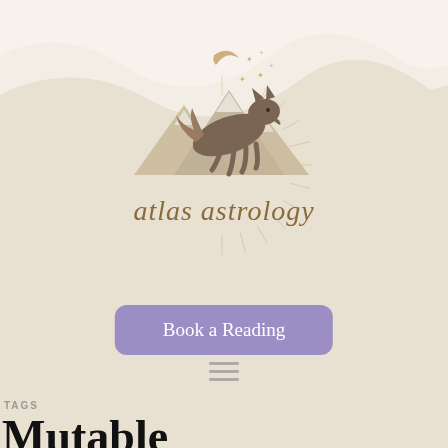[Figure (logo): Atlas Astrology logo: a fox leaping over mountains under a night sky with crescent moon and stars, with radiating sun rays below, and cursive text 'atlas astrology' in brown/gold]
Book a Reading
[Figure (other): Hamburger menu icon (three horizontal lines)]
TAGS
Mutable
5 RESULTS